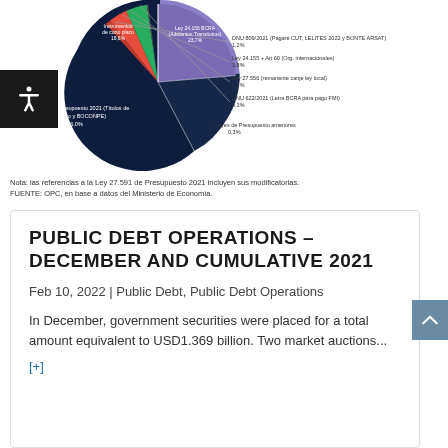[Figure (pie-chart): Distribución de la deuda]
Nota: las referencias a la Ley 27.591 de Presupuesto 2021 incluyen sus modificatorias.
FUENTE: OPC, en base a datos del Ministerio de Economía.
PUBLIC DEBT OPERATIONS – DECEMBER AND CUMULATIVE 2021
Feb 10, 2022 | Public Debt, Public Debt Operations
In December, government securities were placed for a total amount equivalent to USD1.369 billion. Two market auctions...
[+]